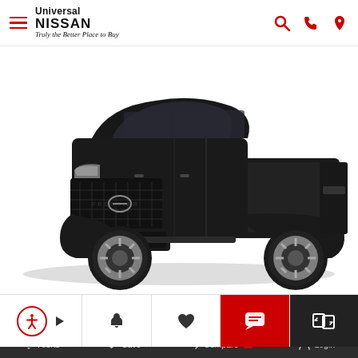Universal NISSAN — Truly the Better Place to Buy
[Figure (photo): Black 2022 Nissan Frontier pickup truck on white background, front three-quarter view]
[Figure (screenshot): Bottom toolbar with accessibility icon, play button, bell/alert icon, heart/save icon, red chat bubble icon, and dark compare icon]
2022 Nissan Frontier | Alerts | Save | Compare 0 | Login